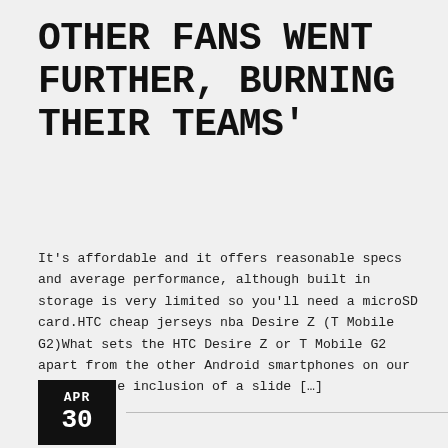OTHER FANS WENT FURTHER, BURNING THEIR TEAMS'
It's affordable and it offers reasonable specs and average performance, although built in storage is very limited so you'll need a microSD card.HTC cheap jerseys nba Desire Z (T Mobile G2)What sets the HTC Desire Z or T Mobile G2 apart from the other Android smartphones on our list is the inclusion of a slide […]
APR 30